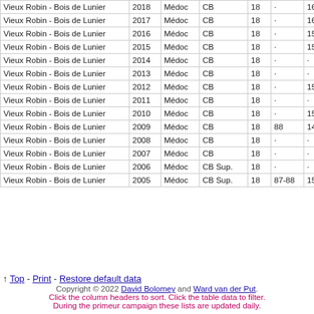| Vieux Robin - Bois de Lunier | 2018 | Médoc | CB | 18 | · | 16 | · |
| Vieux Robin - Bois de Lunier | 2017 | Médoc | CB | 18 | · | 16.5 | · |
| Vieux Robin - Bois de Lunier | 2016 | Médoc | CB | 18 | · | 15.5 | · |
| Vieux Robin - Bois de Lunier | 2015 | Médoc | CB | 18 | · | 15.5 | · |
| Vieux Robin - Bois de Lunier | 2014 | Médoc | CB | 18 | · | · | · |
| Vieux Robin - Bois de Lunier | 2013 | Médoc | CB | 18 | · | · | · |
| Vieux Robin - Bois de Lunier | 2012 | Médoc | CB | 18 | · | 15 | 80 |
| Vieux Robin - Bois de Lunier | 2011 | Médoc | CB | 18 | · | · | · |
| Vieux Robin - Bois de Lunier | 2010 | Médoc | CB | 18 | · | 15.5+ | · |
| Vieux Robin - Bois de Lunier | 2009 | Médoc | CB | 18 | 88 | 14.5 | · |
| Vieux Robin - Bois de Lunier | 2008 | Médoc | CB | 18 | · | · | · |
| Vieux Robin - Bois de Lunier | 2007 | Médoc | CB | 18 | · | · | · |
| Vieux Robin - Bois de Lunier | 2006 | Médoc | CB Sup. | 18 | · | · | · |
| Vieux Robin - Bois de Lunier | 2005 | Médoc | CB Sup. | 18 | 87-88 | 15 | · |
↑ Top - Print - Restore default data
Copyright © 2022 David Bolomey and Ward van der Put. Click the column headers to sort. Click the table data to filter. During the primeur campaign these lists are updated daily.